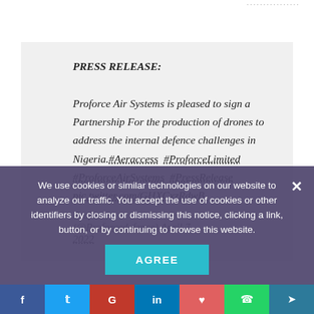PRESS RELEASE: Proforce Air Systems is pleased to sign a Partnership For the production of drones to address the internal defence challenges in Nigeria. #Aeraccess #ProforceLimited #ProforceAirSystems #PressRelease pic.twitter.com/GHXCxzRdwB
Proforce (@Proforcedefence) April 7, 2022
We use cookies or similar technologies on our website to analyze our traffic. You accept the use of cookies or other identifiers by closing or dismissing this notice, clicking a link, button, or by continuing to browse this website.